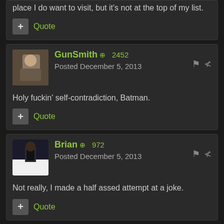place I do want to visit, but it's not at the top of my list.
Quote
GunSmith  +2452
Posted December 5, 2013
Holy fuckin' self-contradiction, Batman.
Quote
Brian  +972
Posted December 5, 2013
Not really, I made a half assed attempt at a joke.
Quote
Odeathstar  +1762